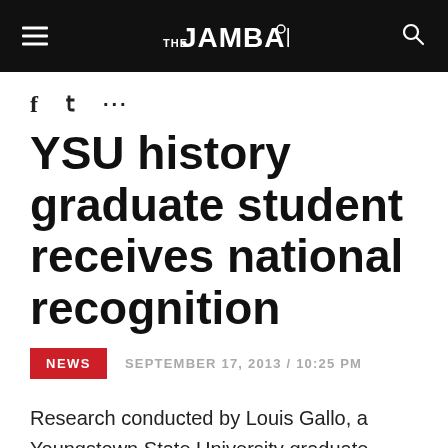THE JAMBAR
YSU history graduate student receives national recognition
NEWS  SEPTEMBER 17, 2013 / 10:25 PM
Research conducted by Louis Gallo, a Youngstown State University graduate student, has recently caught national attention at the annual Associate for Documentary Editing Meeting in Ann Arbor, Michigan.